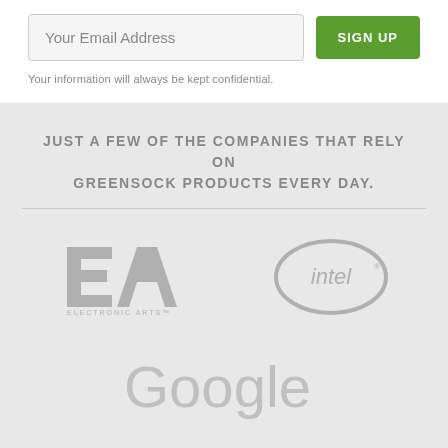Your Email Address
SIGN UP
Your information will always be kept confidential.
JUST A FEW OF THE COMPANIES THAT RELY ON GREENSOCK PRODUCTS EVERY DAY.
[Figure (logo): EA Electronic Arts logo in gray]
[Figure (logo): Intel logo in gray]
[Figure (logo): Google logo in light gray]